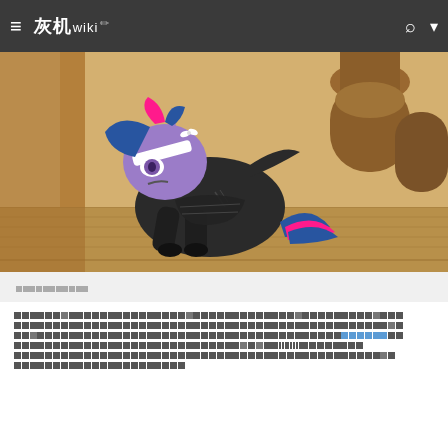灰机wiki — navigation bar with hamburger menu, logo, search and dropdown icons
[Figure (illustration): Animated pony character (Twilight Sparkle) wearing dark armor/black costume, lying on a wooden floor background, with a white bandage on head. My Little Pony fan art style.]
（caption text in Chinese, partially visible）
Body paragraph text in Chinese characters (rendered as pixelated squares in source image). Contains multiple lines of Chinese text with some linked text highlighted in blue.